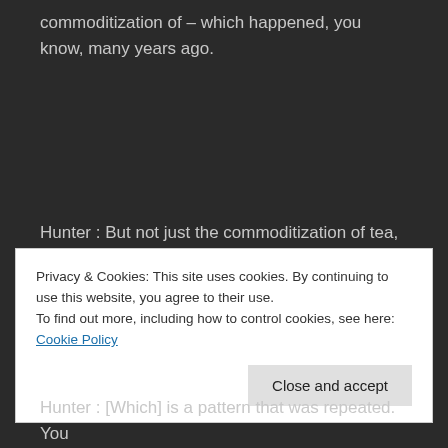commoditization of – which happened, you know, many years ago.
Hunter : But not just the commoditization of tea, but Fortune snuck into China, pretended to be from China, and then stole all these plants [laughter].
Privacy & Cookies: This site uses cookies. By continuing to use this website, you agree to their use.
To find out more, including how to control cookies, see here: Cookie Policy
Close and accept
Hunter : [Which] is a pattern that was repeated. You